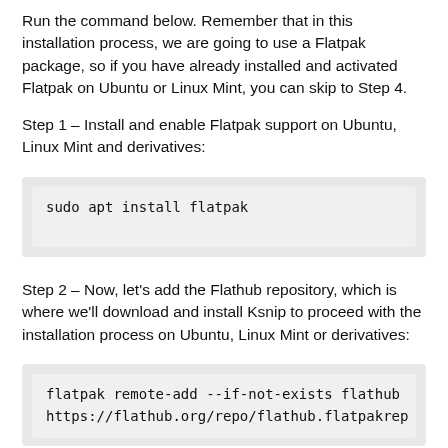Run the command below. Remember that in this installation process, we are going to use a Flatpak package, so if you have already installed and activated Flatpak on Ubuntu or Linux Mint, you can skip to Step 4.
Step 1 – Install and enable Flatpak support on Ubuntu, Linux Mint and derivatives:
sudo apt install flatpak
Step 2 – Now, let's add the Flathub repository, which is where we'll download and install Ksnip to proceed with the installation process on Ubuntu, Linux Mint or derivatives:
flatpak remote-add --if-not-exists flathub
https://flathub.org/repo/flathub.flatpakren